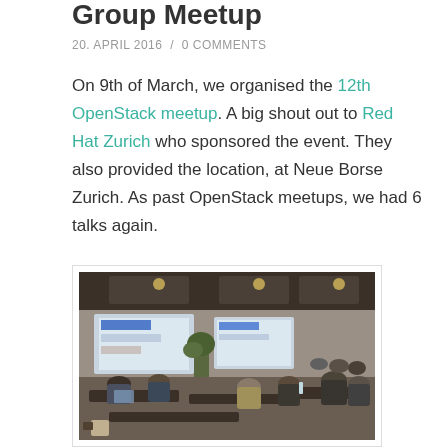Group Meetup
20. APRIL 2016 / 0 COMMENTS
On 9th of March, we organised the 12th OpenStack meetup. A big shout out to Red Hat Zurich who sponsored the event. They also provided the location, at Neue Borse Zurich. As past OpenStack meetups, we had 6 talks again.
[Figure (photo): Conference room with attendees seated at tables watching a presentation on projected screens, taken from the back of the room.]